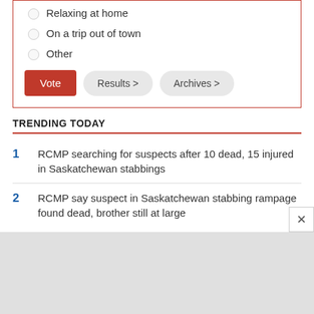Relaxing at home
On a trip out of town
Other
TRENDING TODAY
1 RCMP searching for suspects after 10 dead, 15 injured in Saskatchewan stabbings
2 RCMP say suspect in Saskatchewan stabbing rampage found dead, brother still at large